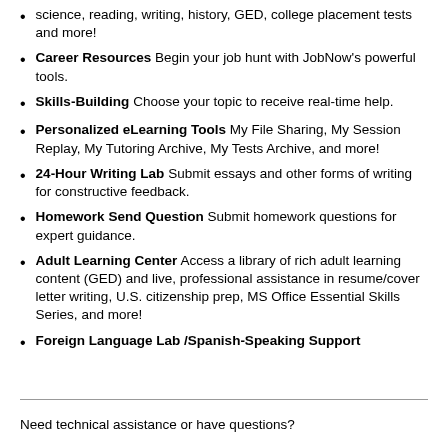science, reading, writing, history, GED, college placement tests and more!
Career Resources Begin your job hunt with JobNow’s powerful tools.
Skills-Building Choose your topic to receive real-time help.
Personalized eLearning Tools My File Sharing, My Session Replay, My Tutoring Archive, My Tests Archive, and more!
24-Hour Writing Lab Submit essays and other forms of writing for constructive feedback.
Homework Send Question Submit homework questions for expert guidance.
Adult Learning Center Access a library of rich adult learning content (GED) and live, professional assistance in resume/cover letter writing, U.S. citizenship prep, MS Office Essential Skills Series, and more!
Foreign Language Lab /Spanish-Speaking Support
Need technical assistance or have questions?